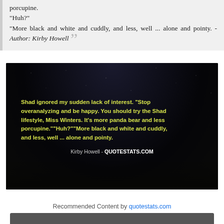porcupine.
"Huh?"
"More black and white and cuddly, and less, well ... alone and pointy. - Author: Kirby Howell
[Figure (photo): Dark night sky photo with yellow-green text overlay of a Kirby Howell quote about the 'Shad lifestyle' being more panda bear and less porcupine, attributed to Kirby Howell - QUOTESTATS.COM]
Recommended Content by quotestats.com